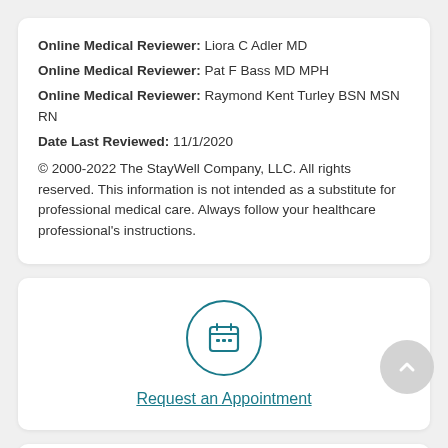Online Medical Reviewer: Liora C Adler MD
Online Medical Reviewer: Pat F Bass MD MPH
Online Medical Reviewer: Raymond Kent Turley BSN MSN RN
Date Last Reviewed: 11/1/2020
© 2000-2022 The StayWell Company, LLC. All rights reserved. This information is not intended as a substitute for professional medical care. Always follow your healthcare professional's instructions.
[Figure (illustration): Calendar icon inside a teal circle border, representing appointment scheduling]
Request an Appointment
[Figure (illustration): Partially visible teal circle icon at bottom of page]